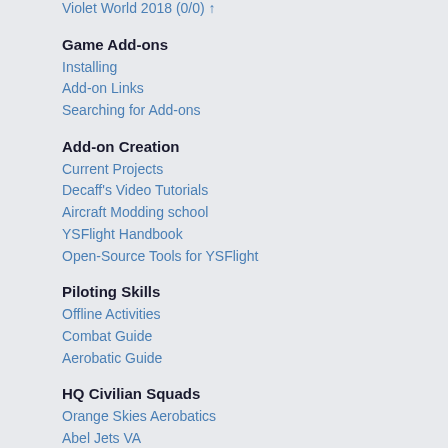Violet World 2018 (0/0) ↑
Game Add-ons
Installing
Add-on Links
Searching for Add-ons
Add-on Creation
Current Projects
Decaff's Video Tutorials
Aircraft Modding school
YSFlight Handbook
Open-Source Tools for YSFlight
Piloting Skills
Offline Activities
Combat Guide
Aerobatic Guide
HQ Civilian Squads
Orange Skies Aerobatics
Abel Jets VA
NatComAir YS VA
Herven Airlines
YSFlight Thunderbirds
VCAP (Discord)
HQ Fighter Squads
4th Aerial Wing (website)